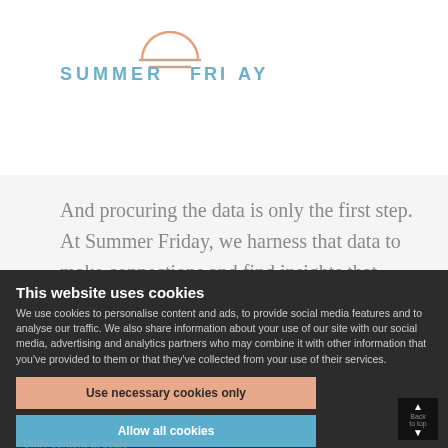[Figure (logo): Summer Friday logo — wordmark with a stylized sunset/horizon icon above the word mark; 'SUMMER' in steel blue spaced caps, 'FRI' in steel blue, sunrise arc icon in peach/salmon, 'AY' in steel blue]
And procuring the data is only the first step. At Summer Friday, we harness that data to make connections and find insights that improve engagement and conversion.
This website uses cookies
We use cookies to personalise content and ads, to provide social media features and to analyse our traffic. We also share information about your use of our site with our social media, advertising and analytics partners who may combine it with other information that you've provided to them or that they've collected from your use of their services.
Use necessary cookies only
Allow all cookies